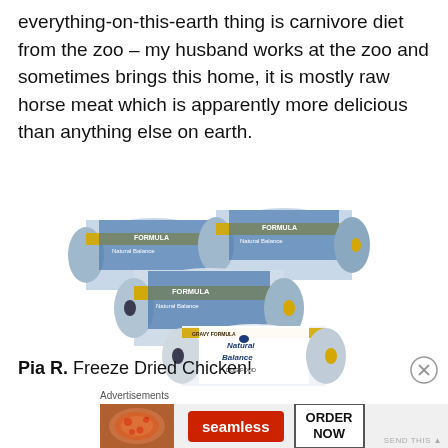everything-on-this-earth thing is carnivore diet from the zoo – my husband works at the zoo and sometimes brings this home, it is mostly raw horse meat which is apparently more delicious than anything else on earth.
[Figure (photo): Multiple rolls of Natural Balance pet food (dog food rolls) in silver and blue packaging with yellow bands, stacked together, with one white Natural Balance roll in front.]
Pia R.  Freeze Dried Chicken!
Advertisements
[Figure (screenshot): Seamless food delivery advertisement banner showing pizza image on left, red Seamless logo button in center, and 'ORDER NOW' button on right.]